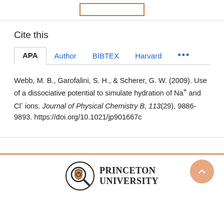Cite this
Webb, M. B., Garofalini, S. H., & Scherer, G. W. (2009). Use of a dissociative potential to simulate hydration of Na+ and Cl- ions. Journal of Physical Chemistry B, 113(29), 9886-9893. https://doi.org/10.1021/jp901667c
[Figure (logo): Princeton University logo with shield magnifying glass icon and bold wordmark text]
Princeton University